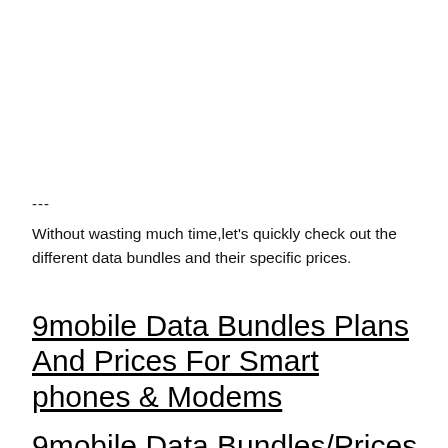---
Without wasting much time,let's quickly check out the different data bundles and their specific prices.
9mobile Data Bundles Plans And Prices For Smart phones & Modems
9mobile Data Bundles/Prices For Modems & Sm...